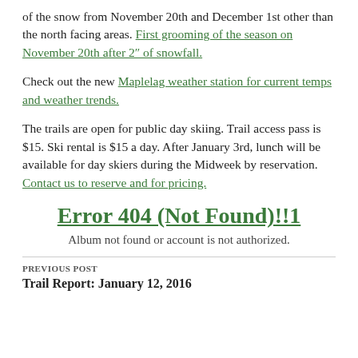of the snow from November 20th and December 1st other than the north facing areas. First grooming of the season on November 20th after 2" of snowfall.
Check out the new Maplelag weather station for current temps and weather trends.
The trails are open for public day skiing. Trail access pass is $15. Ski rental is $15 a day. After January 3rd, lunch will be available for day skiers during the Midweek by reservation. Contact us to reserve and for pricing.
Error 404 (Not Found)!!1
Album not found or account is not authorized.
PREVIOUS POST
Trail Report: January 12, 2016